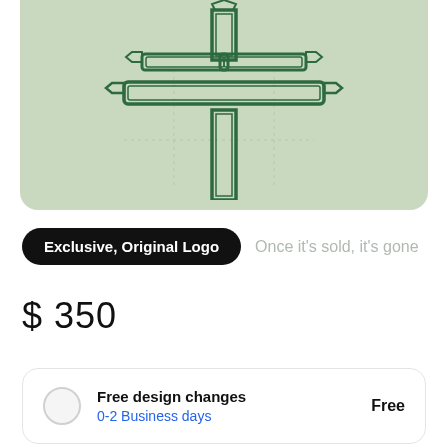[Figure (logo): A geometric tree-like logo with crystalline branch structures on a sage green background]
Exclusive, Original Logo  Once it's sold, it's gone
$ 350
Free design changes  0-2 Business days  Free